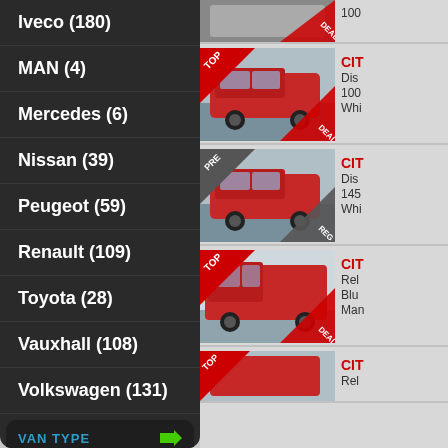Iveco (180)
MAN (4)
Mercedes (6)
Nissan (39)
Peugeot (59)
Renault (109)
Toyota (28)
Vauxhall (108)
Volkswagen (131)
VAN TYPE
Compact Van (66)
[Figure (photo): Red Citroen van with TOP and DEAL badges]
CIT... Disp... 100... Whi...
[Figure (photo): Red Citroen van with PRE and REG badges]
CIT... Disp... 145... Whi...
[Figure (photo): Red Citroen large van with TOP and DEAL badges]
CIT... Rel... Blu... Man...
[Figure (photo): Red Citroen van with TOP badge, bottom cut off]